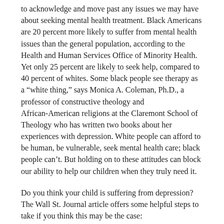to acknowledge and move past any issues we may have about seeking mental health treatment. Black Americans are 20 percent more likely to suffer from mental health issues than the general population, according to the Health and Human Services Office of Minority Health. Yet only 25 percent are likely to seek help, compared to 40 percent of whites. Some black people see therapy as a “white thing,” says Monica A. Coleman, Ph.D., a professor of constructive theology and African-American religions at the Claremont School of Theology who has written two books about her experiences with depression. White people can afford to be human, be vulnerable, seek mental health care; black people can’t. But holding on to these attitudes can block our ability to help our children when they truly need it.
Do you think your child is suffering from depression? The Wall St. Journal article offers some helpful steps to take if you think this may be the case:
Be curious. Ask gentle questions and listen without being critical, says Jessica Feinberg, a licensed clinical social